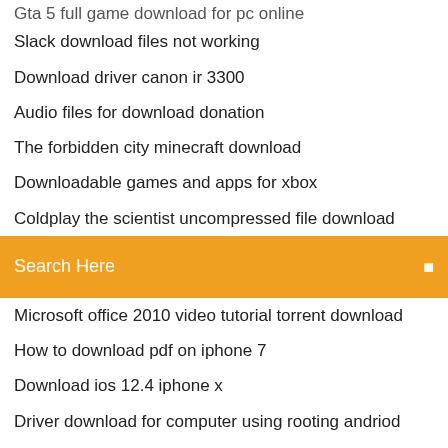Gta 5 full game download for pc online
Slack download files not working
Download driver canon ir 3300
Audio files for download donation
The forbidden city minecraft download
Downloadable games and apps for xbox
Coldplay the scientist uncompressed file download
[Figure (screenshot): Orange search bar with text 'Search Here' and a search icon on the right]
Microsoft office 2010 video tutorial torrent download
How to download pdf on iphone 7
Download ios 12.4 iphone x
Driver download for computer using rooting andriod
West of loathing pc download
Download alice madness returns pc
Office 2007 enterprise download full version
Download windows 10 iso from web browser
Vikings s05 e11 download torrent
Course 20483b pdf download